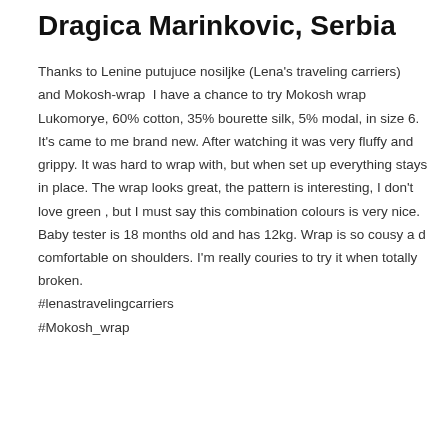Dragica Marinkovic, Serbia
Thanks to Lenine putujuce nosiljke (Lena's traveling carriers)  and Mokosh-wrap  I have a chance to try Mokosh wrap Lukomorye, 60% cotton, 35% bourette silk, 5% modal, in size 6. It's came to me brand new. After watching it was very fluffy and grippy. It was hard to wrap with, but when set up everything stays in place. The wrap looks great, the pattern is interesting, I don't love green , but I must say this combination colours is very nice. Baby tester is 18 months old and has 12kg. Wrap is so cousy a d comfortable on shoulders. I'm really couries to try it when totally broken.
#lenastravelingcarriers
#Mokosh_wrap